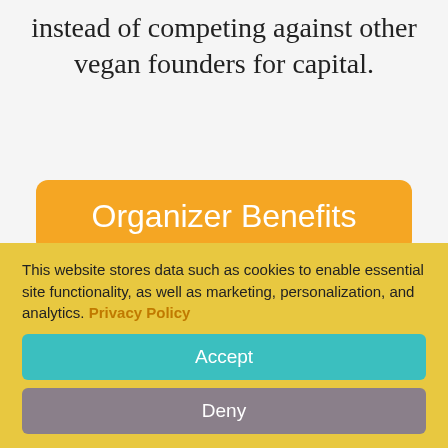instead of competing against other vegan founders for capital.
Organizer Benefits
Escape the limits of purely political, educational, and social organizing.
This website stores data such as cookies to enable essential site functionality, as well as marketing, personalization, and analytics. Privacy Policy
Accept
Deny